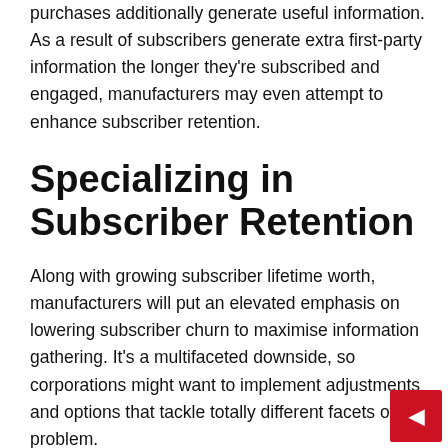purchases additionally generate useful information. As a result of subscribers generate extra first-party information the longer they're subscribed and engaged, manufacturers may even attempt to enhance subscriber retention.
Specializing in Subscriber Retention
Along with growing subscriber lifetime worth, manufacturers will put an elevated emphasis on lowering subscriber churn to maximise information gathering. It's a multifaceted downside, so corporations might want to implement adjustments and options that tackle totally different facets of the problem.